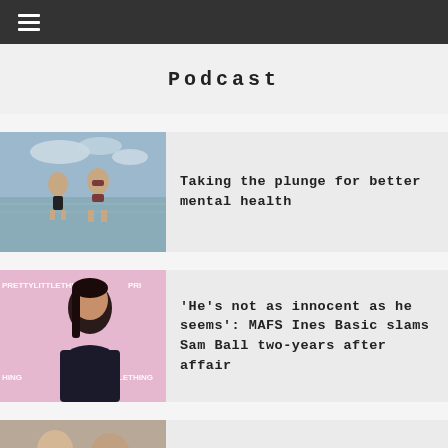☰ (navigation menu)
Podcast
[Figure (photo): Two people standing in shallow water at a beach/lake]
Taking the plunge for better mental health
[Figure (photo): Woman at PrettyLittleThing event, dark hair, wearing off-shoulder top]
'He's not as innocent as he seems': MAFS Ines Basic slams Sam Ball two-years after affair
[Figure (photo): Two men in suits, partial view]
Are the big techs reliable